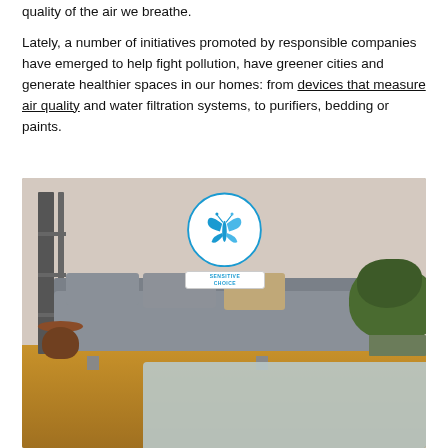quality of the air we breathe.
Lately, a number of initiatives promoted by responsible companies have emerged to help fight pollution, have greener cities and generate healthier spaces in our homes: from devices that measure air quality and water filtration systems, to purifiers, bedding or paints.
[Figure (photo): A modern living room interior with a grey sofa, cushions including a tan pillow, a wooden stump side table, a plant in the right corner, and a light blue blanket in the foreground. Overlaid on the wall above the sofa is a circular Sensitive Choice badge featuring a blue butterfly logo.]